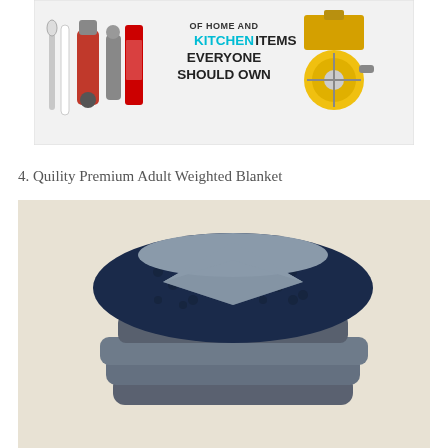[Figure (infographic): Banner image showing home and kitchen items with text 'OF HOME AND KITCHEN ITEMS EVERYONE SHOULD OWN' with kitchen appliances on left and tools on right]
4. Quility Premium Adult Weighted Blanket
[Figure (photo): Photo of a folded Quility Premium Adult Weighted Blanket showing dark navy blue minky top with grey weighted inner blanket, stacked neatly on a beige/cream background]